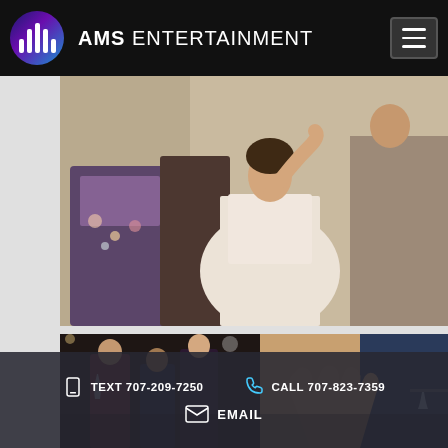[Figure (logo): AMS Entertainment logo with circular gradient icon showing sound bars and brand name text]
[Figure (photo): Wedding bride in white strapless dress dancing with guests at wedding reception]
[Figure (photo): Party guests dancing at event with raised hands, dark venue background]
TEXT 707-209-7250
CALL 707-823-7359
EMAIL